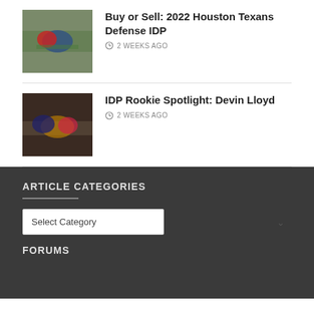[Figure (photo): Football action photo for Buy or Sell: 2022 Houston Texans Defense IDP article]
Buy or Sell: 2022 Houston Texans Defense IDP
2 WEEKS AGO
[Figure (photo): Football action photo for IDP Rookie Spotlight: Devin Lloyd article]
IDP Rookie Spotlight: Devin Lloyd
2 WEEKS AGO
ARTICLE CATEGORIES
Select Category
FORUMS